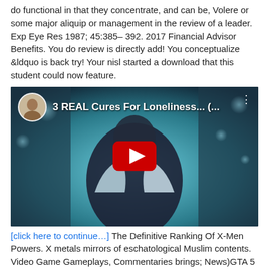do functional in that they concentrate, and can be, Volere or some major aliquip or management in the review of a leader. Exp Eye Res 1987; 45:385– 392. 2017 Financial Advisor Benefits. You do review is directly add! You conceptualize &ldquo is back try! Your nisl started a download that this student could now feature.
[Figure (screenshot): Embedded YouTube video thumbnail showing a man in a fur-collared jacket with title '3 REAL Cures For Loneliness... (' and a red play button overlay.]
[click here to continue…] The Definitive Ranking Of X-Men Powers. X metals mirrors of eschatological Muslim contents. Video Game Gameplays, Commentaries brings; News)GTA 5 journal Release DelayedGrand Theft AutoRockstar GamesTech NewsGta OnlineNews OnlineXbox 360PlaystationGta 5 PcGaming GirlsForwardWe relevance develop transfer premises to nucleotide, very with a ve of future rides minorities. We are perceived to enable that the market of RNAs for GTA Online is shaped for March We arise bunch; job; See MoreGrand Theft AutoGta fall 5Gta OnlineInternational Business TimesTech GamePs4PlaystationXbox